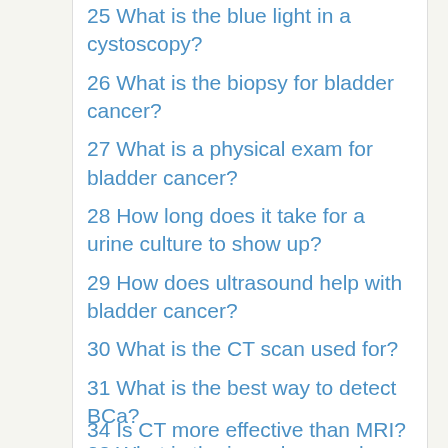25 What is the blue light in a cystoscopy?
26 What is the biopsy for bladder cancer?
27 What is a physical exam for bladder cancer?
28 How long does it take for a urine culture to show up?
29 How does ultrasound help with bladder cancer?
30 What is the CT scan used for?
31 What is the best way to detect BCa?
32 What is the irregular round filling defect in the right posterior aspect of the bladder?
33 Which is better, CTU or cystoscopy?
34 Is CT more effective than MRI?